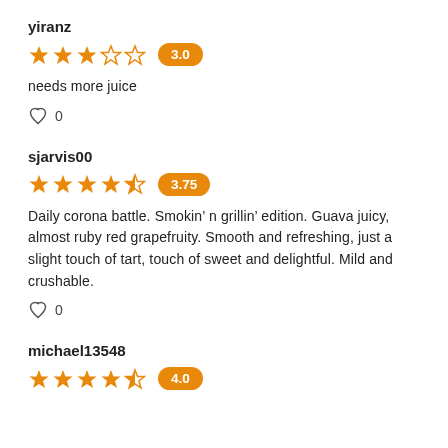yiranz
3.0 (3 stars out of 5)
needs more juice
0 likes
sjarvis00
3.75 (4 stars, half out of 5)
Daily corona battle. Smokin' n grillin' edition. Guava juicy, almost ruby red grapefruity. Smooth and refreshing, just a slight touch of tart, touch of sweet and delightful. Mild and crushable.
0 likes
michael13548
4.0 (4 stars out of 5)